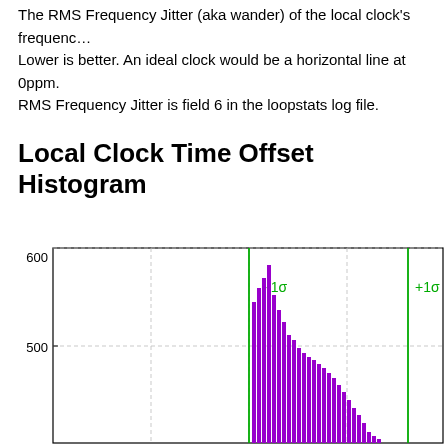The RMS Frequency Jitter (aka wander) of the local clock's frequency. Lower is better. An ideal clock would be a horizontal line at 0ppm. RMS Frequency Jitter is field 6 in the loopstats log file.
Local Clock Time Offset Histogram
[Figure (histogram): Histogram showing local clock time offset distribution. Y-axis shows counts from 500 to 600 visible. Purple bars clustered near center. Green vertical lines mark -1σ and +1σ.]